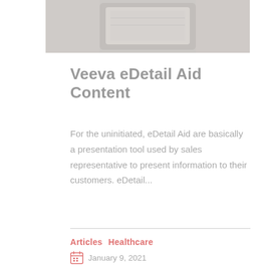[Figure (photo): Cropped photo of a tablet device being held, partially visible at top of page]
Veeva eDetail Aid Content
For the uninitiated, eDetail Aid are basically a presentation tool used by sales representative to present information to their customers. eDetail...
Articles  Healthcare
January 9, 2021